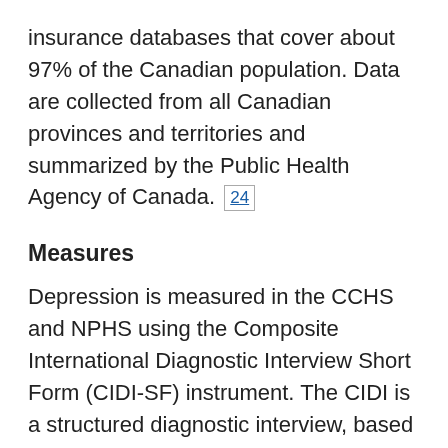insurance databases that cover about 97% of the Canadian population. Data are collected from all Canadian provinces and territories and summarized by the Public Health Agency of Canada. [24]
Measures
Depression is measured in the CCHS and NPHS using the Composite International Diagnostic Interview Short Form (CIDI-SF) instrument. The CIDI is a structured diagnostic interview, based on diagnostic criteria from the International Classification of Diseases (ICD-10) and the Diagnostic and